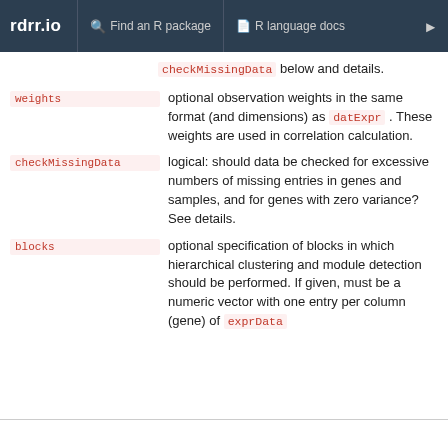rdrr.io  Find an R package  R language docs
checkMissingData below and details.
weights: optional observation weights in the same format (and dimensions) as datExpr. These weights are used in correlation calculation.
checkMissingData: logical: should data be checked for excessive numbers of missing entries in genes and samples, and for genes with zero variance? See details.
blocks: optional specification of blocks in which hierarchical clustering and module detection should be performed. If given, must be a numeric vector with one entry per column (gene) of exprData